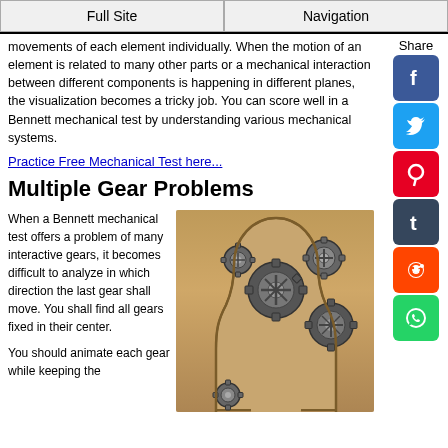Full Site | Navigation
movements of each element individually. When the motion of an element is related to many other parts or a mechanical interaction between different components is happening in different planes, the visualization becomes a tricky job. You can score well in a Bennett mechanical test by understanding various mechanical systems.
Practice Free Mechanical Test here...
Multiple Gear Problems
When a Bennett mechanical test offers a problem of many interactive gears, it becomes difficult to analyze in which direction the last gear shall move. You shall find all gears fixed in their center.
You should animate each gear while keeping the
[Figure (illustration): Illustration of mechanical gears inside a human head silhouette made of wood texture, with various interlocking metal gears visible inside the head profile.]